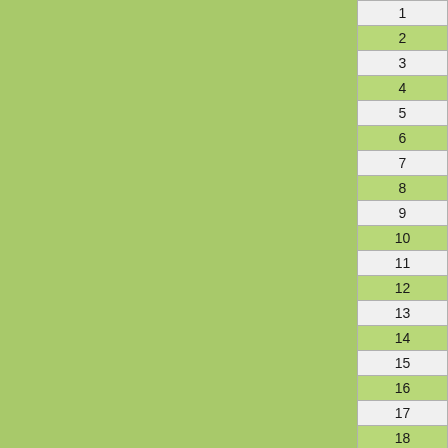| # | count | value | name |
| --- | --- | --- | --- |
| 1 | 94 | 32.28 |  |
| 2 | 8 | 35.08 | k |
| 3 | 3 | 31.70 | j |
| 4 | 20 | 27.62 | Ra |
| 5 | 65 | 25.77 | Va |
| 6 | 114 | 25.27 | d |
| 7 | 14 | 23.76 | g |
| 8 | 6 | 23.30 | Ro |
| 9 | 238 | 22.25 |  |
| 10 | 2 | 21.70 | Ra |
| 11 | 5 | 21.38 |  |
| 12 | 4 | 20.96 |  |
| 13 | 28 | 20.56 | The |
| 14 | 38 | 19.90 | g |
| 15 | 57 | 19.48 | a |
| 16 | 17 | 18.24 |  |
| 17 | 1 | 17.60 | O |
| 18 | 426 | 17.33 | BE |
| 19 | 185 | 16.98 |  |
| 20 | 22 | 16.56 |  |